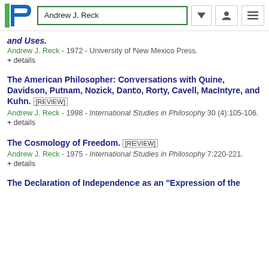Andrew J. Reck
and Uses.
Andrew J. Reck - 1972 - University of New Mexico Press.
+ details
The American Philosopher: Conversations with Quine, Davidson, Putnam, Nozick, Danto, Rorty, Cavell, MacIntyre, and Kuhn. [REVIEW]
Andrew J. Reck - 1998 - International Studies in Philosophy 30 (4):105-106.
+ details
The Cosmology of Freedom. [REVIEW]
Andrew J. Reck - 1975 - International Studies in Philosophy 7:220-221.
+ details
The Declaration of Independence as an "Expression of the